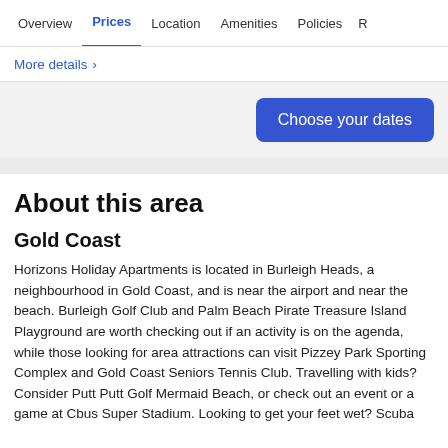Overview | Prices | Location | Amenities | Policies | R…
More details >
Choose your dates
About this area
Gold Coast
Horizons Holiday Apartments is located in Burleigh Heads, a neighbourhood in Gold Coast, and is near the airport and near the beach. Burleigh Golf Club and Palm Beach Pirate Treasure Island Playground are worth checking out if an activity is on the agenda, while those looking for area attractions can visit Pizzey Park Sporting Complex and Gold Coast Seniors Tennis Club. Travelling with kids? Consider Putt Putt Golf Mermaid Beach, or check out an event or a game at Cbus Super Stadium. Looking to get your feet wet? Scuba diving, surfing/body boarding and boat tours adventures